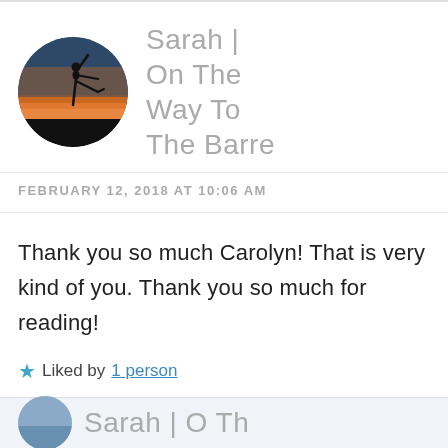[Figure (photo): Circular avatar photo showing silhouette of a ballet dancer against a sunset sky with orange and blue gradient]
Sarah | On The Way To The Barre
FEBRUARY 12, 2018 AT 10:06 AM
Thank you so much Carolyn! That is very kind of you. Thank you so much for reading!
Liked by 1 person
[Figure (photo): Partial circular avatar photo, blue-grey tones, partially cropped at bottom of page]
Sarah | O Th...